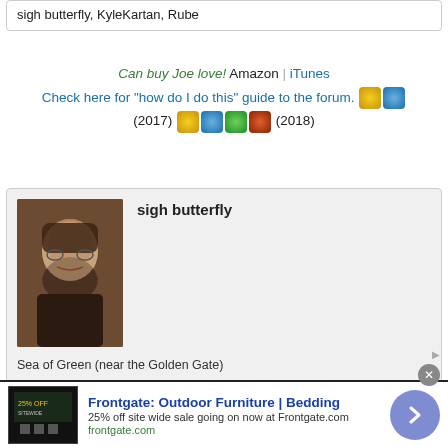sigh butterfly, KyleKartan, Rube
Can buy Joe love! Amazon | iTunes
Check here for "how do I do this" guide to the forum. (badges) (2017) (badges) (2018)
sigh butterfly
Sea of Green (near the Golden Gate)
Posts: 3918
15 July 2022 - 3.54pm
411
Thanks for posting @KyleKartan. This is touching
Frontgate: Outdoor Furniture | Bedding
25% off site wide sale going on now at Frontgate.com
frontgate.com